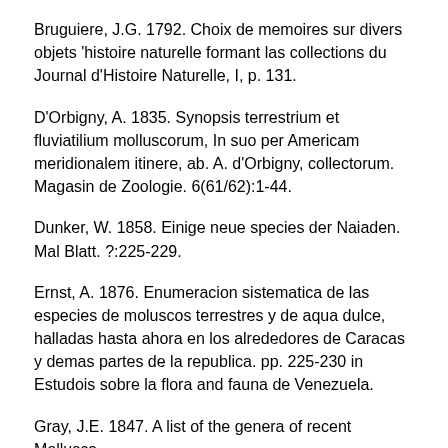Bruguiere, J.G. 1792. Choix de memoires sur divers objets 'histoire naturelle formant las collections du Journal d'Histoire Naturelle, I, p. 131.
D'Orbigny, A. 1835. Synopsis terrestrium et fluviatilium molluscorum, In suo per Americam meridionalem itinere, ab. A. d'Orbigny, collectorum. Magasin de Zoologie. 6(61/62):1-44.
Dunker, W. 1858. Einige neue species der Naiaden. Mal Blatt. ?:225-229.
Ernst, A. 1876. Enumeracion sistematica de las especies de moluscos terrestres y de aqua dulce, halladas hasta ahora en los alrededores de Caracas y demas partes de la republica. pp. 225-230 in Estudois sobre la flora and fauna de Venezuela.
Gray, J.E. 1847. A list of the genera of recent Mollusca,